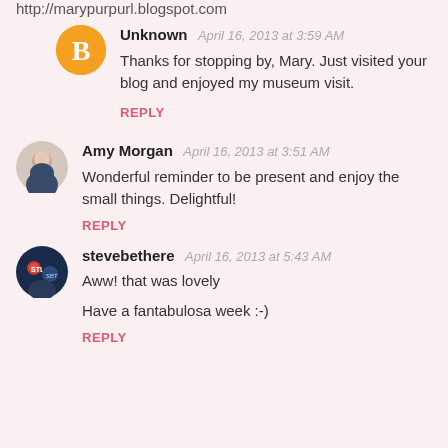http://marypurpurl.blogspot.com
Unknown  April 16, 2013 at 3:59 AM
Thanks for stopping by, Mary. Just visited your blog and enjoyed my museum visit.
REPLY
Amy Morgan  April 16, 2013 at 3:51 AM
Wonderful reminder to be present and enjoy the small things. Delightful!
REPLY
stevebethere  April 16, 2013 at 5:43 AM
Aww! that was lovely

Have a fantabulosa week :-)
REPLY